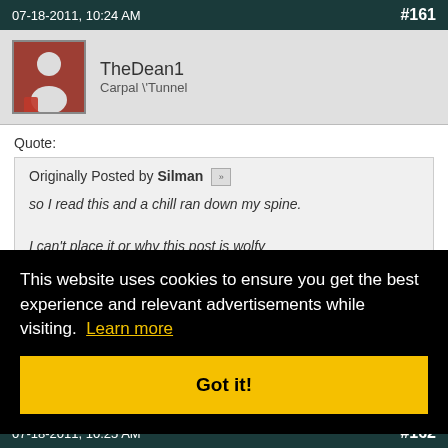07-18-2011, 10:24 AM  #161
TheDean1
Carpal \' Tunnel
Quote:
Originally Posted by Silman
so I read this and a chill ran down my spine.

I can't place it or why this post is wolfy
but it creeps me out.
This website uses cookies to ensure you get the best experience and relevant advertisements while visiting. Learn more
Got it!
07-18-2011, 10:25 AM  #162